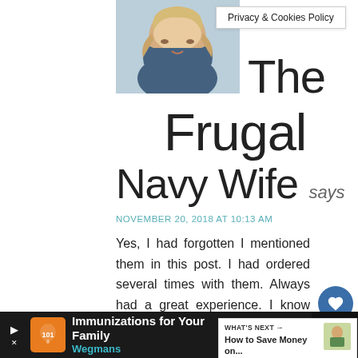[Figure (photo): Profile photo of a smiling blonde woman, cropped at top of page]
Privacy & Cookies Policy
The Frugal Navy Wife says
NOVEMBER 20, 2018 AT 10:13 AM
Yes, I had forgotten I mentioned them in this post. I had ordered several times with them. Always had a great experience. I know the partners who started the company split a few years ago and one was trying to make a competing company that never the ground I just wish there was a
[Figure (screenshot): Like button with heart icon and count 404, and share button]
[Figure (screenshot): What's Next promotional widget showing 'How to Save Money on...' with small illustration]
[Figure (screenshot): Advertisement bar at bottom: Immunizations for Your Family - Wegmans]